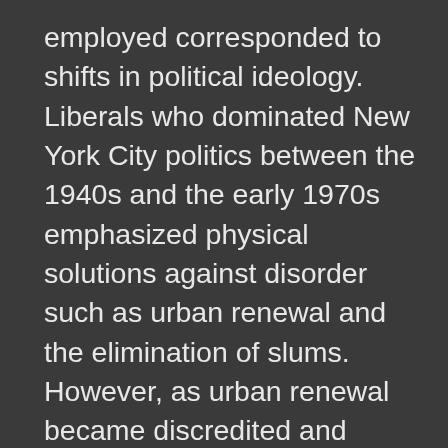employed corresponded to shifts in political ideology. Liberals who dominated New York City politics between the 1940s and the early 1970s emphasized physical solutions against disorder such as urban renewal and the elimination of slums. However, as urban renewal became discredited and crime increased dramatically, neoconservatives denounced postwar liberalism as the source of the city's decline. After the fiscal crisis of 1975, brands of neoliberalism and neoconservatism merged and articulated a new vision of spatial regulation based on aggressive policing. Instead of redeveloping low-income African American and Latino neighborhoods, the authorities targeted people who committed